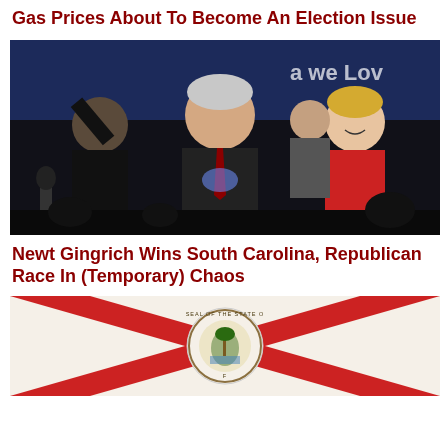Gas Prices About To Become An Election Issue
[Figure (photo): Newt Gingrich waving to a crowd at a campaign event, with his wife Callista Gingrich in a red blazer smiling beside him, and supporters in the background.]
Newt Gingrich Wins South Carolina, Republican Race In (Temporary) Chaos
[Figure (photo): Florida state flag waving showing the state seal against a blue sky background.]